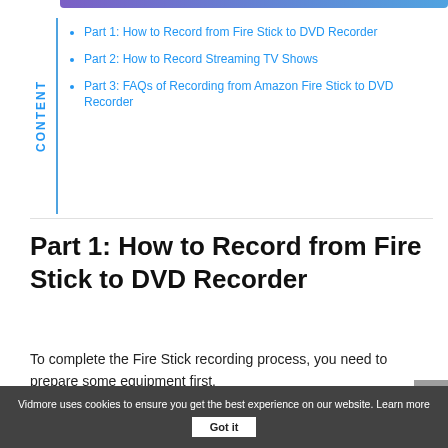Part 1: How to Record from Fire Stick to DVD Recorder
Part 2: How to Record Streaming TV Shows
Part 3: FAQs of Recording from Amazon Fire Stick to DVD Recorder
Part 1: How to Record from Fire Stick to DVD Recorder
To complete the Fire Stick recording process, you need to prepare some equipment first.
DVD recorder or something similar
Vidmore uses cookies to ensure you get the best experience on our website. Learn more  Got it